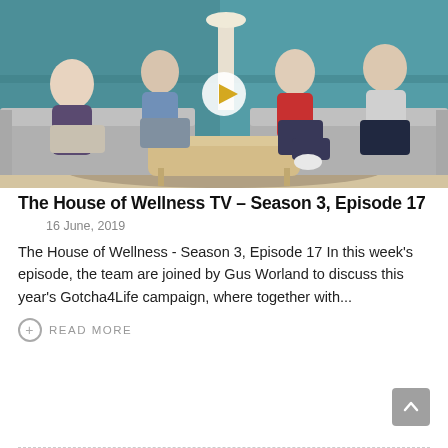[Figure (photo): TV show photo: four people sitting on grey sofas in a modern studio set with teal/green background, a wooden coffee table in the center, with a play button overlay indicating a video thumbnail]
The House of Wellness TV – Season 3, Episode 17
16 June, 2019
The House of Wellness - Season 3, Episode 17 In this week's episode, the team are joined by Gus Worland to discuss this year's Gotcha4Life campaign, where together with...
READ MORE